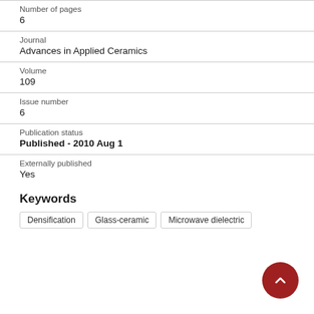Number of pages
6
Journal
Advances in Applied Ceramics
Volume
109
Issue number
6
Publication status
Published - 2010 Aug 1
Externally published
Yes
Keywords
Densification
Glass-ceramic
Microwave dielectric